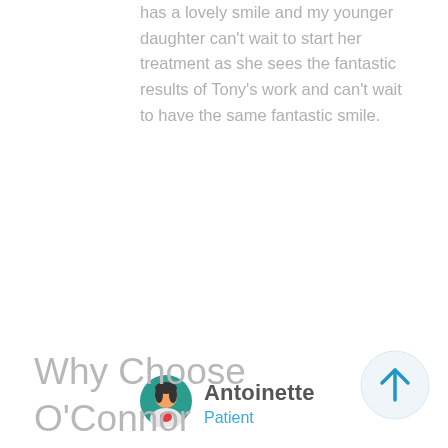has a lovely smile and my younger daughter can't wait to start her treatment as she sees the fantastic results of Tony's work and can't wait to have the same fantastic smile.
Antoinette
Patient
[Figure (illustration): Circular avatar illustration of a person with dark hair wearing a white coat and red top, on a teal/green background]
Why Choose O'Connor Dental Health
[Figure (illustration): Circular scroll-to-top button with a blue upward arrow on a light blue-grey background]